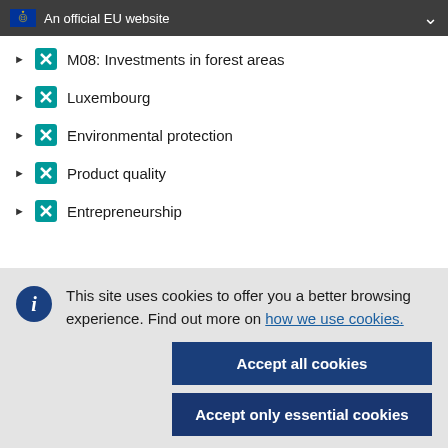An official EU website
M08: Investments in forest areas
Luxembourg
Environmental protection
Product quality
Entrepreneurship
This site uses cookies to offer you a better browsing experience. Find out more on how we use cookies.
Accept all cookies
Accept only essential cookies